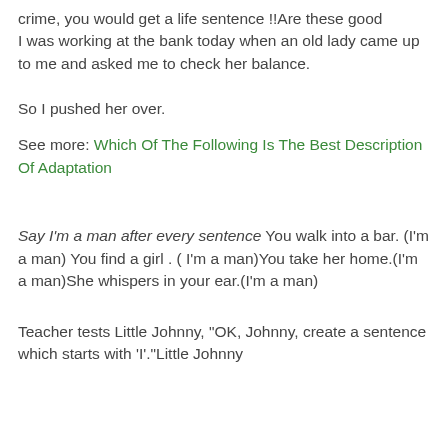crime, you would get a life sentence !!Are these good
I was working at the bank today when an old lady came up to me and asked me to check her balance.

So I pushed her over.
See more: Which Of The Following Is The Best Description Of Adaptation
Say I'm a man after every sentence You walk into a bar. (I'm a man) You find a girl . ( I'm a man)You take her home.(I'm a man)She whispers in your ear.(I'm a man)
Teacher tests Little Johnny, "OK, Johnny, create a sentence which starts with 'I'."Little Johnny